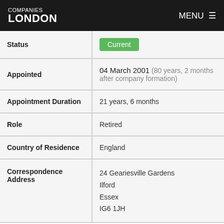COMPANIES LONDON   MENU
| Field | Value |
| --- | --- |
| Status | Current |
| Appointed | 04 March 2001 (80 years, 2 months after company formation) |
| Appointment Duration | 21 years, 6 months |
| Role | Retired |
| Country of Residence | England |
| Correspondence Address | 24 Geariesville Gardens, Ilford, Essex, IG6 1JH |